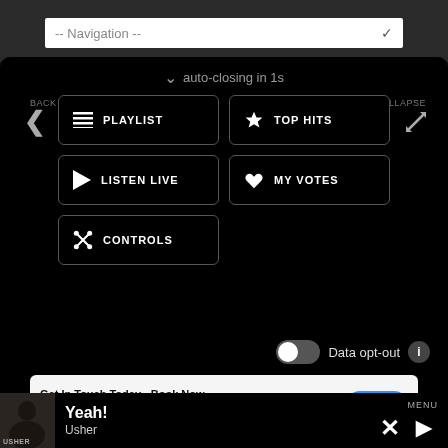[Figure (screenshot): Mobile app navigation menu overlay on dark background showing playlist controls and now-playing bar]
-- Navigation --
auto-closing in 1s
BACK
PLAYLIST
TOP HITS
LISTEN LIVE
MY VOTES
CONTROLS
COLLAPSE
Data opt-out
Get In Touch Today - Book Now
Nashville DJ, Live Act, Photobooth & Sound Rental
OPEN
Yeah!
Usher
MENU